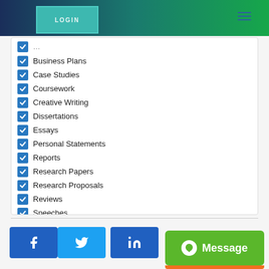[Figure (screenshot): Website header with LOGIN button and hamburger menu, green-to-blue gradient background]
Business Plans
Case Studies
Coursework
Creative Writing
Dissertations
Essays
Personal Statements
Reports
Research Papers
Research Proposals
Reviews
Speeches
Summaries
Term Papers
Thesis Proposals
[Figure (screenshot): Footer with Facebook, Twitter, LinkedIn social buttons and a green Message button]